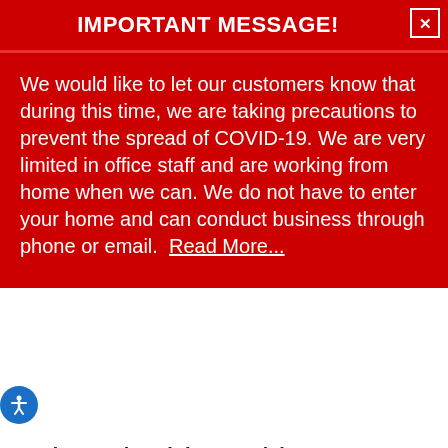IMPORTANT MESSAGE!
We would like to let our customers know that during this time, we are taking precautions to prevent the spread of COVID-19. We are very limited in office staff and are working from home when we can. We do not have to enter your home and can conduct business through phone or email.  Read More...
4. Choose the Right Material
The material chosen for the roof will have a significant impact on the total cost. Asphalt shingles are an affordable option and a reliable material for most homes, especially in the